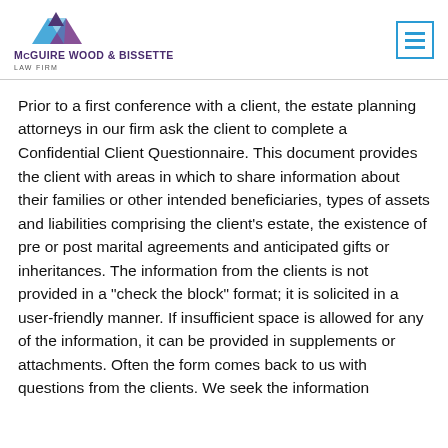McGuire Wood & Bissette Law Firm
Prior to a first conference with a client, the estate planning attorneys in our firm ask the client to complete a Confidential Client Questionnaire. This document provides the client with areas in which to share information about their families or other intended beneficiaries, types of assets and liabilities comprising the client’s estate, the existence of pre or post marital agreements and anticipated gifts or inheritances. The information from the clients is not provided in a “check the block” format; it is solicited in a user-friendly manner. If insufficient space is allowed for any of the information, it can be provided in supplements or attachments. Often the form comes back to us with questions from the clients. We seek the information